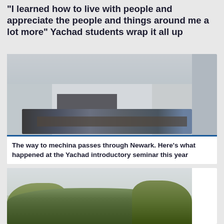“I learned how to live with people and appreciate the people and things around me a lot more” Yachad students wrap it all up
[Figure (photo): Indoor photo of students sitting around tables in a conference/seminar room with grey walls and ceiling lights]
The way to mechina passes through Newark. Here’s what happened at the Yachad introductory seminar this year
[Figure (photo): Outdoor photo showing trees with green foliage against a light sky, partial view]